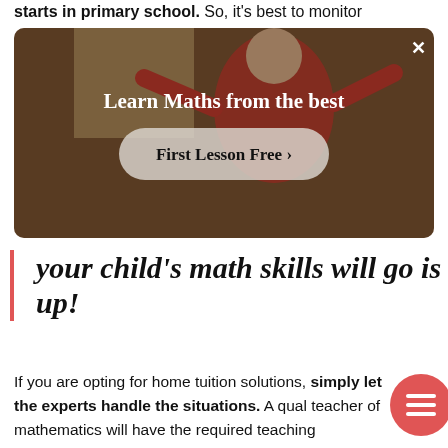starts in primary school. So, it's best to monitor
[Figure (photo): Advertisement banner showing a person teaching maths with text 'Learn Maths from the best' and a button 'First Lesson Free >']
your child's math skills will go is up!
If you are opting for home tuition solutions, simply let the experts handle the situations. A qual teacher of mathematics will have the required teaching experience to know how to help and